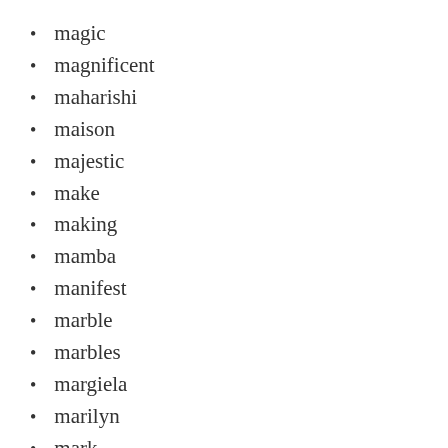magic
magnificent
maharishi
maison
majestic
make
making
mamba
manifest
marble
marbles
margiela
marilyn
mark
market
marseille
martian